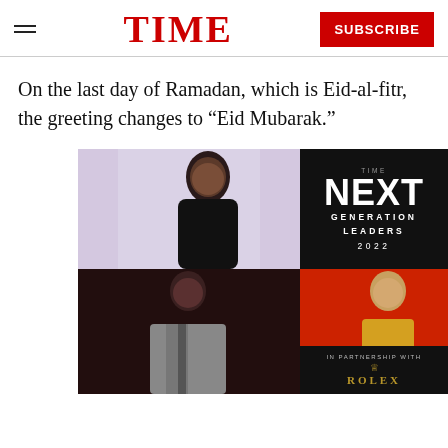TIME — SUBSCRIBE
On the last day of Ramadan, which is Eid-al-fitr, the greeting changes to “Eid Mubarak.”
[Figure (photo): TIME Next Generation Leaders 2022 advertisement composite image featuring three portraits: a young man in top-left panel against light purple background, a man in a suit in bottom-left panel with dark red toning, and a woman in bottom-right panel against red background. The top-right panel shows 'TIME NEXT GENERATION LEADERS 2022' text on black. Bottom-right also shows 'IN PARTNERSHIP WITH ROLEX' in gold text on black.]